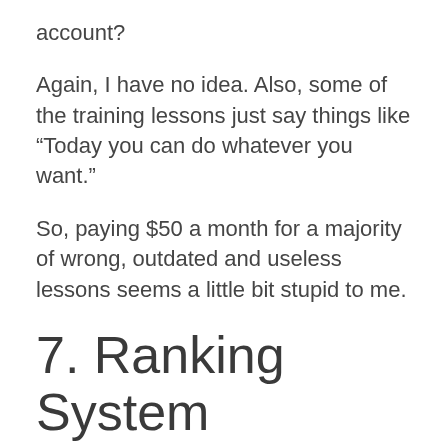account?
Again, I have no idea. Also, some of the training lessons just say things like “Today you can do whatever you want.”
So, paying $50 a month for a majority of wrong, outdated and useless lessons seems a little bit stupid to me.
7. Ranking System